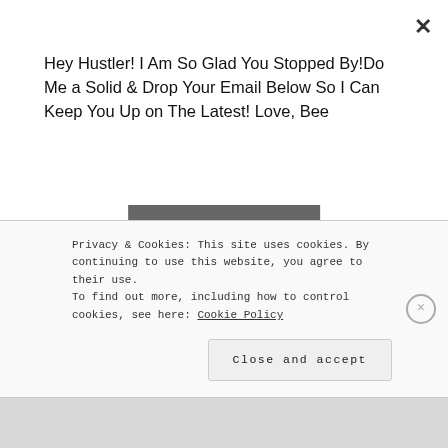Hey Hustler! I Am So Glad You Stopped By!Do Me a Solid & Drop Your Email Below So I Can Keep You Up on The Latest! Love, Bee
Join The Hustle
company like Kellogg, it can (& probably has) happened anywhere!
This guy probably never would have been “exposed” if the video hadn’t found its way to Worldstar where it’s been viewed over 500k times. Sick. Disgusting.
Privacy & Cookies: This site uses cookies. By continuing to use this website, you agree to their use. To find out more, including how to control cookies, see here: Cookie Policy
Close and accept